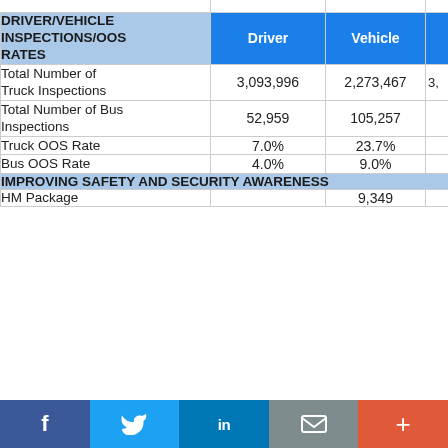| DRIVER/VEHICLE INSPECTIONS/OOS RATES | Driver | Vehicle |  |
| --- | --- | --- | --- |
| Total Number of Truck Inspections | 3,093,996 | 2,273,467 | 3,… |
| Total Number of Bus Inspections | 52,959 | 105,257 |  |
| Truck OOS Rate | 7.0% | 23.7% |  |
| Bus OOS Rate | 4.0% | 9.0% |  |
| IMPROVING SAFETY AND SECURITY AWARENESS |  |  |  |
| HM Package |  | 9,349 |  |
Social sharing bar: Facebook, Twitter, LinkedIn, Email, More